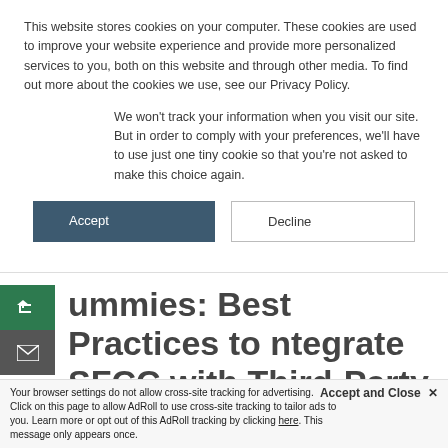This website stores cookies on your computer. These cookies are used to improve your website experience and provide more personalized services to you, both on this website and through other media. To find out more about the cookies we use, see our Privacy Policy.
We won't track your information when you visit our site. But in order to comply with your preferences, we'll have to use just one tiny cookie so that you're not asked to make this choice again.
Accept
Decline
ummies: Best Practices to ntegrate SFCC with Third-Party Services
May 30, 2022  •  by Shraddha Banerjee  •  Retail, Salesforce Commerce Cloud  •  salesforce, salesforce commerce...
Accept and Close ✕
Your browser settings do not allow cross-site tracking for advertising. Click on this page to allow AdRoll to use cross-site tracking to tailor ads to you. Learn more or opt out of this AdRoll tracking by clicking here. This message only appears once.